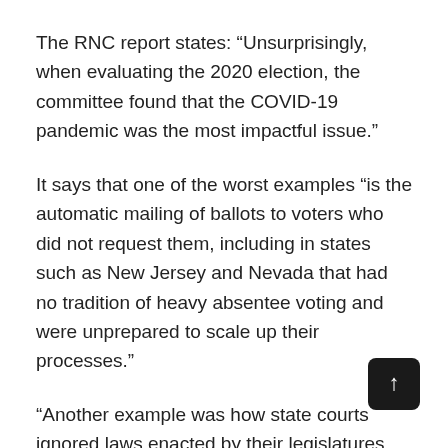The RNC report states: “Unsurprisingly, when evaluating the 2020 election, the committee found that the COVID-19 pandemic was the most impactful issue.”
It says that one of the worst examples “is the automatic mailing of ballots to voters who did not request them, including in states such as New Jersey and Nevada that had no tradition of heavy absentee voting and were unprepared to scale up their processes.”
“Another example was how state courts ignored laws enacted by their legislatures such as ballot delivery deadlines. Utilizing emergency powers and the courts, the Democrats attempted, with some success, to tear down these key safeguards that give Americans confidence in our elections.”